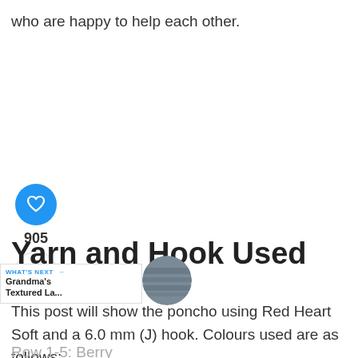who are happy to help each other.
[Figure (other): Blue circular heart/like button with white heart icon, showing count 905, and a share button below]
[Figure (other): What's Next banner with link 'Grandma's Textured La...' and a circular thumbnail showing a blue-grey textured image]
Yarn and Hook Used
This post will show the poncho using Red Heart Soft and a 6.0 mm (J) hook. Colours used are as follows:
Row 1-5: Berry